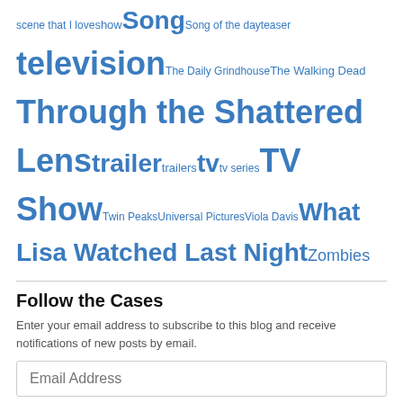scene that I love show Song Song of the day teaser television The Daily Grindhouse The Walking Dead Through the Shattered Lens trailer trailers tv tv series TV Show Twin Peaks Universal Pictures Viola Davis What Lisa Watched Last Night Zombies
Follow the Cases
Enter your email address to subscribe to this blog and receive notifications of new posts by email.
Email Address
Sign me up!
Join 26,976 other followers